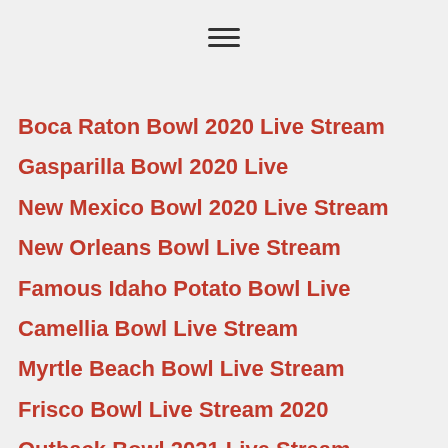[Figure (other): Hamburger menu icon (three horizontal lines)]
Boca Raton Bowl 2020 Live Stream
Gasparilla Bowl 2020 Live
New Mexico Bowl 2020 Live Stream
New Orleans Bowl Live Stream
Famous Idaho Potato Bowl Live
Camellia Bowl Live Stream
Myrtle Beach Bowl Live Stream
Frisco Bowl Live Stream 2020
Outback Bowl 2021 Live Stream
Cotton Bowl 2020 Live Stream